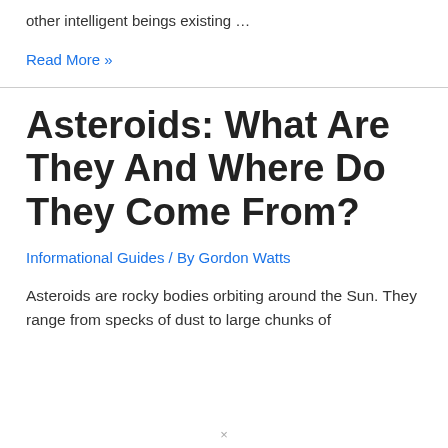other intelligent beings existing …
Read More »
Asteroids: What Are They And Where Do They Come From?
Informational Guides / By Gordon Watts
Asteroids are rocky bodies orbiting around the Sun. They range from specks of dust to large chunks of
×